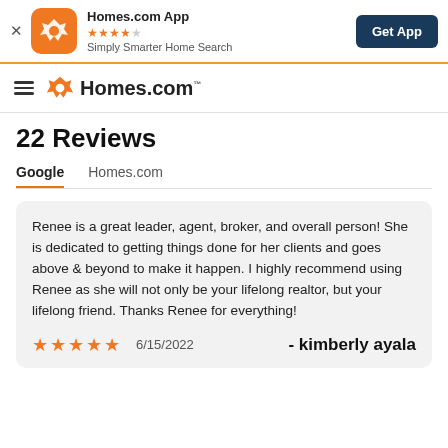[Figure (screenshot): Homes.com app banner with orange icon, star rating, tagline, and Get App button]
[Figure (logo): Homes.com navigation bar with hamburger menu and orange logo]
22 Reviews
Google | Homes.com (tabs)
Renee is a great leader, agent, broker, and overall person! She is dedicated to getting things done for her clients and goes above & beyond to make it happen. I highly recommend using Renee as she will not only be your lifelong realtor, but your lifelong friend. Thanks Renee for everything!
★★★★★  6/15/2022  - kimberly ayala